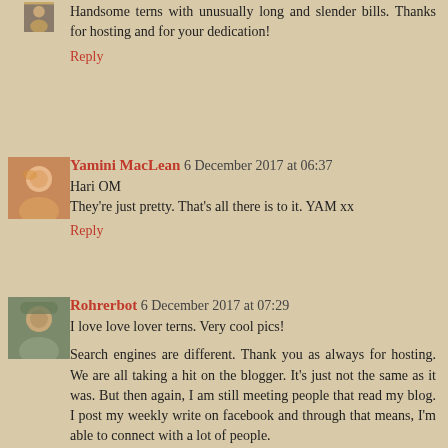Handsome terns with unusually long and slender bills. Thanks for hosting and for your dedication!
Reply
Yamini MacLean 6 December 2017 at 06:37
Hari OM
They're just pretty. That's all there is to it. YAM xx
Reply
Rohrerbot 6 December 2017 at 07:29
I love love lover terns. Very cool pics!
Search engines are different. Thank you as always for hosting. We are all taking a hit on the blogger. It's just not the same as it was. But then again, I am still meeting people that read my blog. I post my weekly write on facebook and through that means, I'm able to connect with a lot of people.